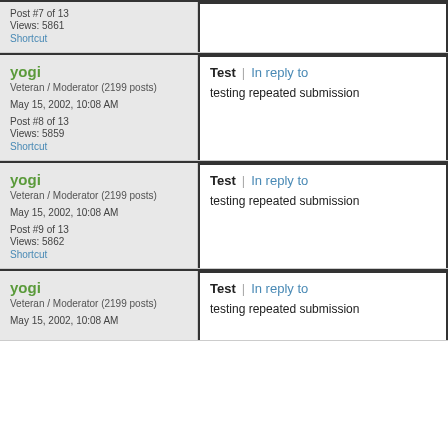Post #7 of 13
Views: 5861
Shortcut
yogi
Veteran / Moderator (2199 posts)
May 15, 2002, 10:08 AM
Post #8 of 13
Views: 5859
Shortcut
Test | In reply to
testing repeated submission
yogi
Veteran / Moderator (2199 posts)
May 15, 2002, 10:08 AM
Post #9 of 13
Views: 5862
Shortcut
Test | In reply to
testing repeated submission
yogi
Veteran / Moderator (2199 posts)
May 15, 2002, 10:08 AM
Test | In reply to
testing repeated submission